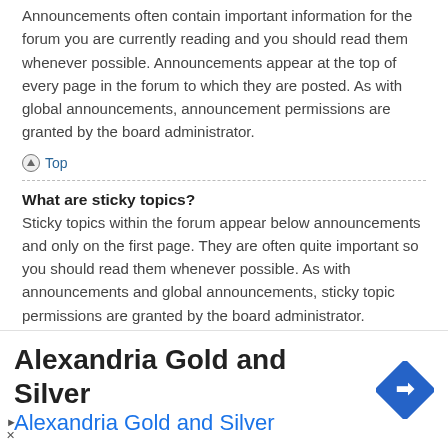Announcements often contain important information for the forum you are currently reading and you should read them whenever possible. Announcements appear at the top of every page in the forum to which they are posted. As with global announcements, announcement permissions are granted by the board administrator.
Top
What are sticky topics?
Sticky topics within the forum appear below announcements and only on the first page. They are often quite important so you should read them whenever possible. As with announcements and global announcements, sticky topic permissions are granted by the board administrator.
Top
What are locked topics?
Locked topics are topics where users can no longer reply and any poll it contained was automatically ended. Topics may be locked for many
[Figure (infographic): Advertisement banner for Alexandria Gold and Silver with blue text and a blue diamond-shaped navigation icon]